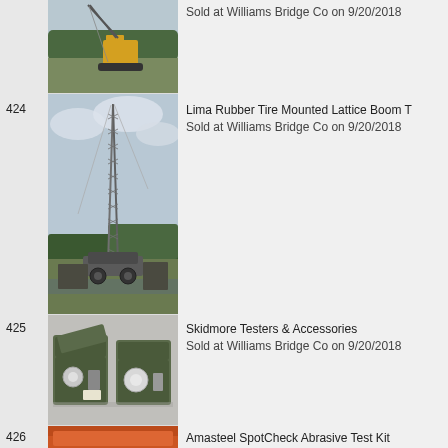[Figure (photo): Partial view of a tracked lattice boom crane in a field, item sold at Williams Bridge Co on 9/20/2018]
Sold at Williams Bridge Co on 9/20/2018
424
[Figure (photo): Lima Rubber Tire Mounted Lattice Boom Tower crane standing tall in a field]
Lima Rubber Tire Mounted Lattice Boom T
Sold at Williams Bridge Co on 9/20/2018
425
[Figure (photo): Skidmore Testers and Accessories in cases on a concrete surface]
Skidmore Testers & Accessories
Sold at Williams Bridge Co on 9/20/2018
426
[Figure (photo): Amasteel SpotCheck Abrasive Test Kit - partial view]
Amasteel SpotCheck Abrasive Test Kit
Sold at Williams Bridge Co on 9/20/2018